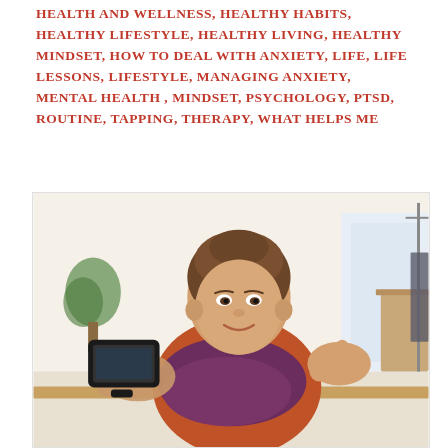HEALTH AND WELLNESS, HEALTHY HABITS, HEALTHY LIFESTYLE, HEALTHY LIVING, HEALTHY MINDSET, HOW TO DEAL WITH ANXIETY, LIFE, LIFE LESSONS, LIFESTYLE, MANAGING ANXIETY, MENTAL HEALTH, MINDSET, PSYCHOLOGY, PTSD, ROUTINE, TAPPING, THERAPY, WHAT HELPS ME
[Figure (photo): A young girl with brown hair in a ponytail, wearing an orange/rust shirt and purple scarf, holding a black smartphone/tablet and smiling, appearing to take a selfie or record a video. Background shows a bright, airy room with plants and wooden furniture.]